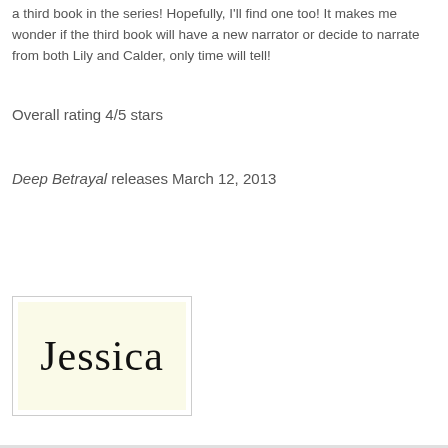a third book in the series! Hopefully, I'll find one too! It makes me wonder if the third book will have a new narrator or decide to narrate from both Lily and Calder, only time will tell!
Overall rating 4/5 stars
Deep Betrayal releases March 12, 2013
[Figure (illustration): A handwritten cursive signature reading 'Jessica' on a cream/light yellow background, inside a light-bordered rectangle.]